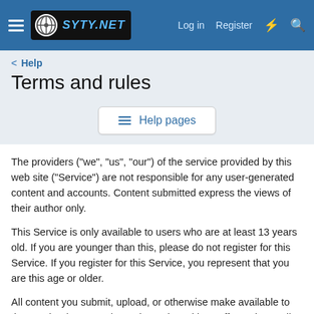SYTY.NET — Log in | Register
Help
Terms and rules
≡ Help pages
The providers ("we", "us", "our") of the service provided by this web site ("Service") are not responsible for any user-generated content and accounts. Content submitted express the views of their author only.
This Service is only available to users who are at least 13 years old. If you are younger than this, please do not register for this Service. If you register for this Service, you represent that you are this age or older.
All content you submit, upload, or otherwise make available to the Service ("Content") may be reviewed by staff members. All Content you submit or upload may be sent to third-party verification services (including, but not limited to, spam